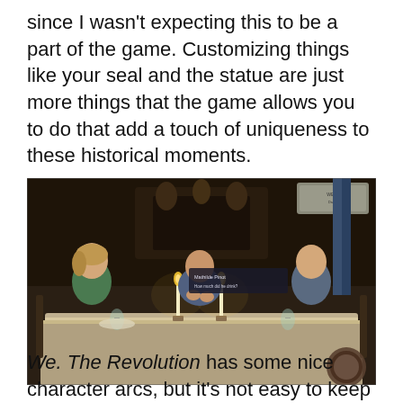since I wasn't expecting this to be a part of the game. Customizing things like your seal and the statue are just more things that the game allows you to do that add a touch of uniqueness to these historical moments.
[Figure (screenshot): Screenshot from the video game 'We. The Revolution' showing three characters seated at a candlelit dinner table in a dark, ornate room. A woman in green on the left, a man in the center holding something, and a man in a vest on the right. A dialogue box reads 'Mathilde Pinot: How much did he drink?']
We. The Revolution has some nice character arcs, but it's not easy to keep everyone happy